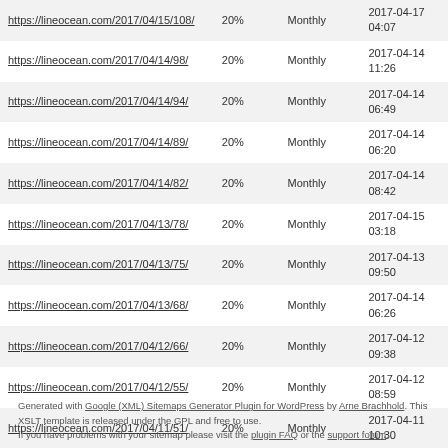| https://lineocean.com/2017/04/15/108/ | 20% | Monthly | 2017-04-17 04:07 |
| https://lineocean.com/2017/04/14/98/ | 20% | Monthly | 2017-04-14 11:26 |
| https://lineocean.com/2017/04/14/94/ | 20% | Monthly | 2017-04-14 06:49 |
| https://lineocean.com/2017/04/14/89/ | 20% | Monthly | 2017-04-14 06:20 |
| https://lineocean.com/2017/04/14/82/ | 20% | Monthly | 2017-04-14 08:42 |
| https://lineocean.com/2017/04/13/78/ | 20% | Monthly | 2017-04-15 03:18 |
| https://lineocean.com/2017/04/13/75/ | 20% | Monthly | 2017-04-13 09:50 |
| https://lineocean.com/2017/04/13/68/ | 20% | Monthly | 2017-04-14 06:26 |
| https://lineocean.com/2017/04/12/66/ | 20% | Monthly | 2017-04-12 09:38 |
| https://lineocean.com/2017/04/12/55/ | 20% | Monthly | 2017-04-12 08:59 |
| https://lineocean.com/2017/04/11/51/ | 20% | Monthly | 2017-04-11 10:30 |
Generated with Google (XML) Sitemaps Generator Plugin for WordPress by Arne Brachhold. This XSLT template is released under the GPL and free to use. If you have problems with your sitemap please visit the plugin FAQ or the support forum.